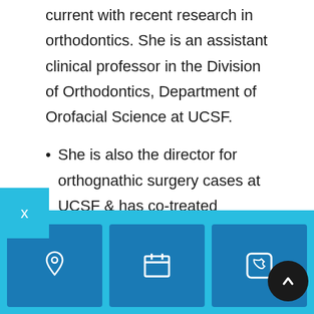current with recent research in orthodontics. She is an assistant clinical professor in the Division of Orthodontics, Department of Orofacial Science at UCSF.
She is also the director for orthognathic surgery cases at UCSF & has co-treated multiple surgical cases with oral surgeons. Her